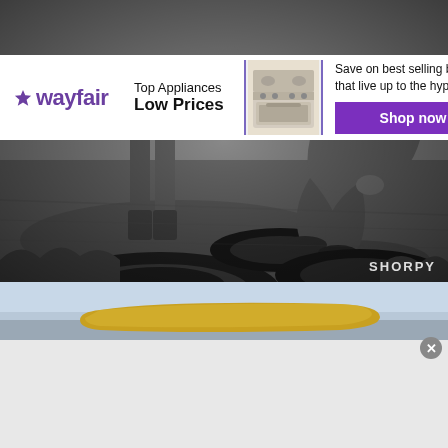[Figure (photo): Black and white vintage photograph (watermarked SHORPY) showing people standing around car tires on muddy ground. A man is crouching down handling a tire while others stand nearby.]
[Figure (photo): Color photograph showing children lying or sitting, part of a Wayfair advertisement banner. Shows children with golden/yellow blanket or covering.]
[Figure (infographic): Wayfair advertisement banner. Shows Wayfair logo, text 'Top Appliances Low Prices', image of a stove/range appliance, and text 'Save on best selling brands that live up to the hype' with a purple 'Shop now' button. Close/X button in top right corner.]